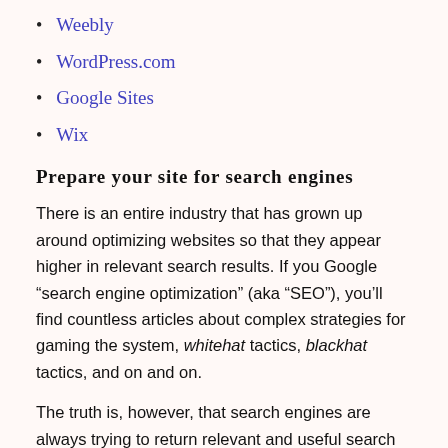Weebly
WordPress.com
Google Sites
Wix
Prepare your site for search engines
There is an entire industry that has grown up around optimizing websites so that they appear higher in relevant search results. If you Google “search engine optimization” (aka “SEO”), you’ll find countless articles about complex strategies for gaming the system, whitehat tactics, blackhat tactics, and on and on.
The truth is, however, that search engines are always trying to return relevant and useful search results to their users.